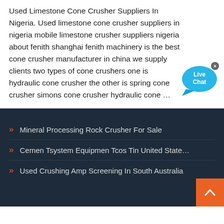Used Limestone Cone Crusher Suppliers In Nigeria. Used limestone cone crusher suppliers in nigeria mobile limestone crusher suppliers nigeria about fenith shanghai fenith machinery is the best cone crusher manufacturer in china we supply clients two types of cone crushers one is hydraulic cone crusher the other is spring cone crusher simons cone crusher hydraulic cone …
[Figure (illustration): Live Chat button - blue speech bubble with 'Live Chat' text and a grey close (x) button]
Mineral Processing Rock Crusher For Sale
Cemen Tsystem Equipmen Tcos Tin United States Of Amer…
Used Crushing Amp Screening In South Australia